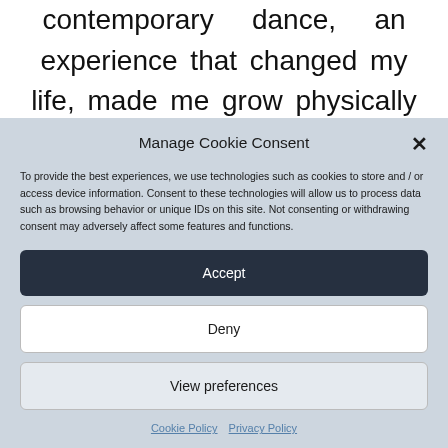contemporary dance, an experience that changed my life, made me grow physically and
Manage Cookie Consent
To provide the best experiences, we use technologies such as cookies to store and / or access device information. Consent to these technologies will allow us to process data such as browsing behavior or unique IDs on this site. Not consenting or withdrawing consent may adversely affect some features and functions.
Accept
Deny
View preferences
Cookie Policy   Privacy Policy